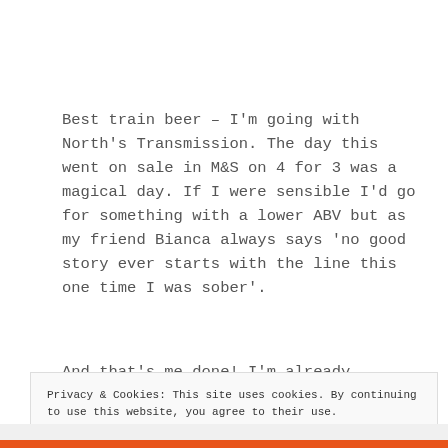Best train beer – I'm going with North's Transmission. The day this went on sale in M&S on 4 for 3 was a magical day. If I were sensible I'd go for something with a lower ABV but as my friend Bianca always says 'no good story ever starts with the line this one time I was sober'.
And that's me done! I'm already looking forward to
Privacy & Cookies: This site uses cookies. By continuing to use this website, you agree to their use.
To find out more, including how to control cookies, see here: Cookie Policy
Close and accept